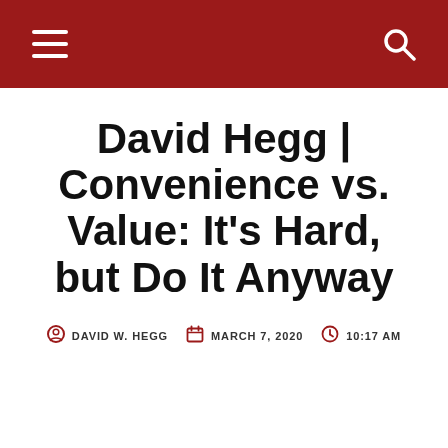Navigation bar with hamburger menu and search icon
David Hegg | Convenience vs. Value: It's Hard, but Do It Anyway
DAVID W. HEGG   MARCH 7, 2020   10:17 AM